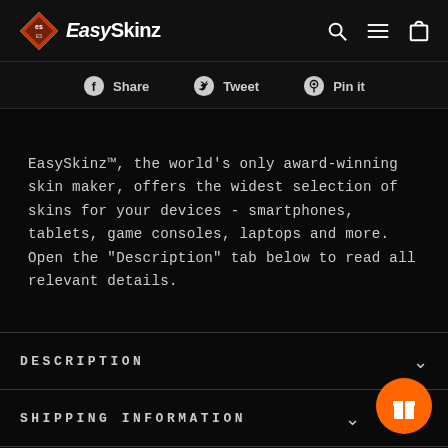EasySkinz
Share  Tweet  Pin it
EasySkinz™, the world's only award-winning skin maker, offers the widest selection of skins for your devices - smartphones, tablets, game consoles, laptops and more. Open the "Description" tab below to read all relevant details.
DESCRIPTION
SHIPPING INFORMATION